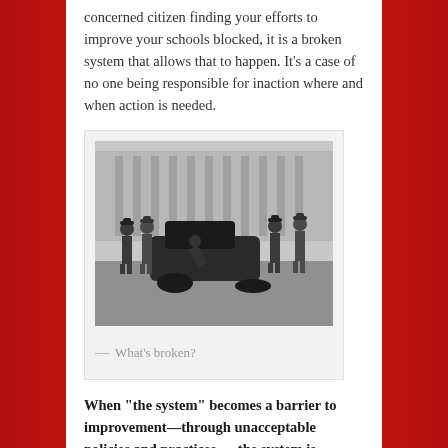concerned citizen finding your efforts to improve your schools blocked, it is a broken system that allows that to happen. It's a case of no one being responsible for inaction where and when action is needed.
[Figure (photo): Black and white vintage photograph of a group of men in hats gathered around a damaged/broken-down automobile on a street, with a large building in the background.]
— What's broken?
When “the system” becomes a barrier to improvement—through unacceptable policies and practices — the system is broken.
That doesn’t mean that all pieces are broken (not all schools, all teachers, all places), but it does mean the system failed to serve, protect, and educate All children